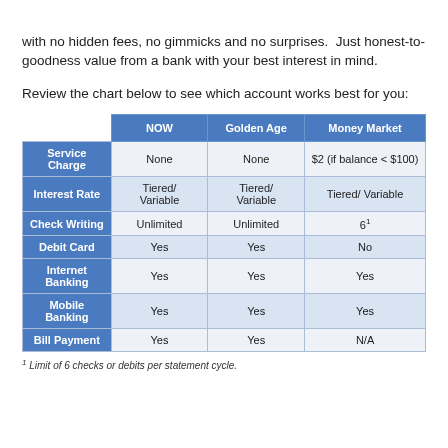with no hidden fees, no gimmicks and no surprises.  Just honest-to-goodness value from a bank with your best interest in mind.
Review the chart below to see which account works best for you:
|  | NOW | Golden Age | Money Market |
| --- | --- | --- | --- |
| Service Charge | None | None | $2 (if balance < $100) |
| Interest Rate | Tiered/ Variable | Tiered/ Variable | Tiered/ Variable |
| Check Writing | Unlimited | Unlimited | 6¹ |
| Debit Card | Yes | Yes | No |
| Internet Banking | Yes | Yes | Yes |
| Mobile Banking | Yes | Yes | Yes |
| Bill Payment | Yes | Yes | N/A |
¹ Limit of 6 checks or debits per statement cycle.